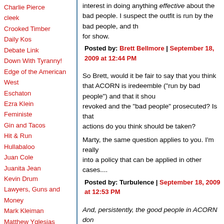Charlie Pierce
cleek
Crooked Timber
Daily Kos
Debate Link
Down With Tyranny!
Edge of the American West
Eschaton
Ezra Klein
Feministe
Gin and Tacos
Hit & Run
Hullabaloo
Juan Cole
Juanita Jean
Kevin Drum
Lawyers, Guns and Money
Mark Kleiman
Matthew Yglesias
Maxspeak
Mercury Rising
Michael Cain's Random
interest in doing anything effective about the bad people. I suspect the outfit is run by the bad people, and this is all for show.
Posted by: Brett Bellmore | September 18, 2009 at 12:44 PM
So Brett, would it be fair to say that you think that ACORN is iredeemble ("run by bad people") and that it should be defunded, revoked and the "bad people" prosecuted? Is that right? What actions do you think should be taken?
Marty, the same question applies to you. I'm really trying to get into a policy that can be applied in other cases....
Posted by: Turbulence | September 18, 2009 at 12:53 PM
And, persistently, the good people in ACORN don't have any interest in doing anything effective about the bad people. I suspect the outfit is run by the bad people, and this is all for show.
oddly, this is how i feel about the GOP
Posted by: cleek | September 18, 2009 at 12:58 PM